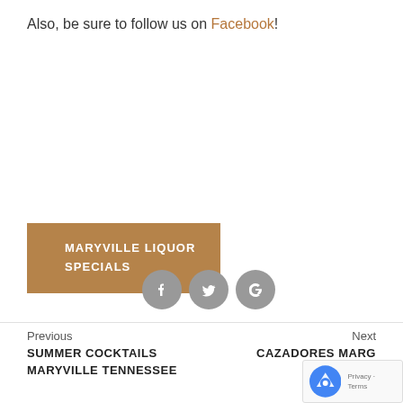Also, be sure to follow us on Facebook!
[Figure (other): Tag box with brown background reading MARYVILLE LIQUOR SPECIALS in white uppercase text]
[Figure (other): Three social media icon circles (Facebook, Twitter, Google+) in gray]
Previous
SUMMER COCKTAILS MARYVILLE TENNESSEE
Next
CAZADORES MARG... R...